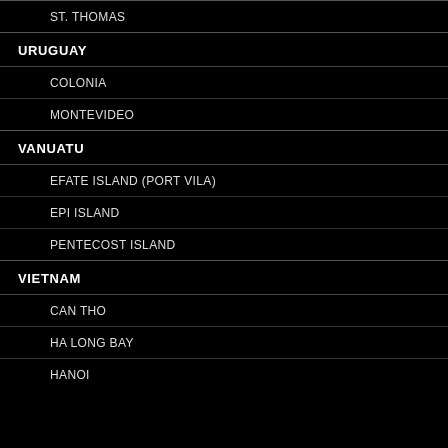ST. THOMAS
URUGUAY
COLONIA
MONTEVIDEO
VANUATU
EFATE ISLAND (PORT VILA)
EPI ISLAND
PENTECOST ISLAND
VIETNAM
CAN THO
HA LONG BAY
HANOI